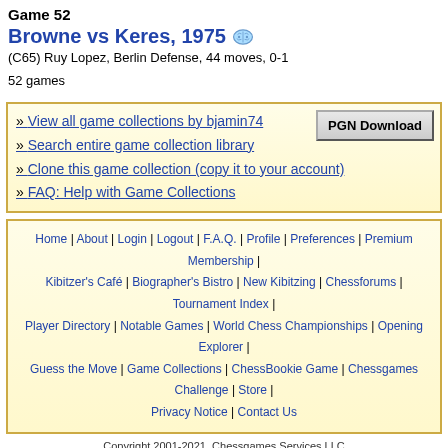Game 52
Browne vs Keres, 1975
(C65) Ruy Lopez, Berlin Defense, 44 moves, 0-1
52 games
» View all game collections by bjamin74
» Search entire game collection library
» Clone this game collection (copy it to your account)
» FAQ: Help with Game Collections
Home | About | Login | Logout | F.A.Q. | Profile | Preferences | Premium Membership | Kibitzer's Café | Biographer's Bistro | New Kibitzing | Chessforums | Tournament Index | Player Directory | Notable Games | World Chess Championships | Opening Explorer | Guess the Move | Game Collections | ChessBookie Game | Chessgames Challenge | Store | Privacy Notice | Contact Us
Copyright 2001-2021, Chessgames Services LLC